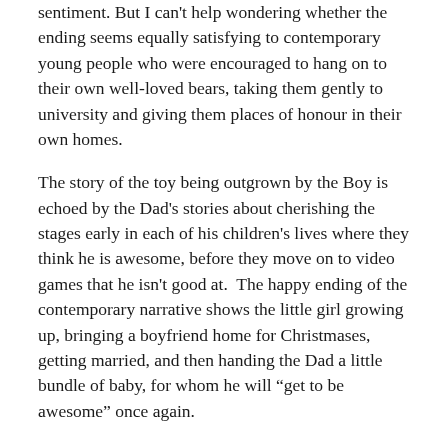sentiment. But I can't help wondering whether the ending seems equally satisfying to contemporary young people who were encouraged to hang on to their own well-loved bears, taking them gently to university and giving them places of honour in their own homes.
The story of the toy being outgrown by the Boy is echoed by the Dad's stories about cherishing the stages early in each of his children's lives where they think he is awesome, before they move on to video games that he isn't good at.  The happy ending of the contemporary narrative shows the little girl growing up, bringing a boyfriend home for Christmases, getting married, and then handing the Dad a little bundle of baby, for whom he will "get to be awesome" once again.
The show was at the newish Capitol Theatre venue in Fort Edmonton Park.  Its last performance for this season was